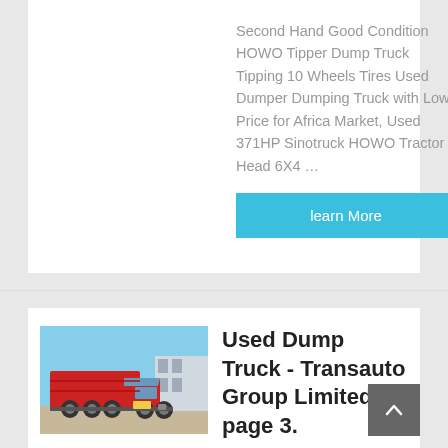Second Hand Good Condition HOWO Tipper Dump Truck Tipping 10 Wheels Tires Used Dumper Dumping Truck with Low Price for Africa Market, Used 371HP Sinotruck HOWO Tractor Head 6X4 …
learn More
[Figure (photo): Red HOWO dump truck parked outdoors against a blue sky background]
Used Dump Truck - Transauto Group Limited - page 3.
China Used Dump Truck catalog of Chinese Tipper Truck Used HOWO